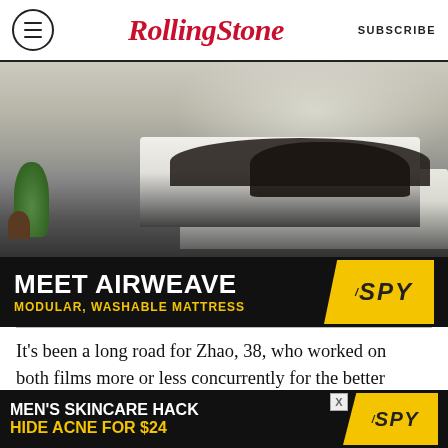RollingStone | SUBSCRIBE
[Figure (photo): Advertisement banner for Airweave mattress showing a person in dark clothing lying face-down on a white mattress with a plant nearby. Text reads: MEET AIRWEAVE / MODULAR, WASHABLE MATTRESS with SPY logo badge.]
It's been a long road for Zhao, 38, who worked on both films more or less concurrently for the better part of two years, starting in the fall of 2018. Just
[Figure (photo): Advertisement banner at bottom: MEN'S SKINCARE HACK / HIDE ACNE FOR $24 with SPY logo badge.]